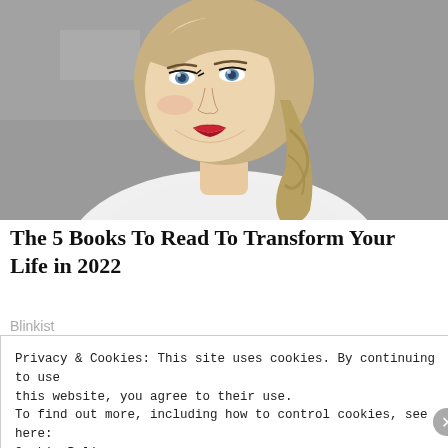[Figure (photo): Portrait photo of a young blonde woman with blue eyes, red lipstick, wearing a white top, against a grey background.]
The 5 Books To Read To Transform Your Life in 2022
Blinkist
Privacy & Cookies: This site uses cookies. By continuing to use this website, you agree to their use.
To find out more, including how to control cookies, see here:
Cookie Policy
Close and accept